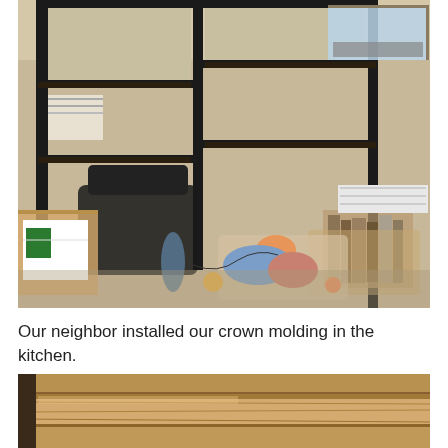[Figure (photo): Indoor room photo showing a metal shelving unit in a corner, a black chair, boxes, toys and baskets on the floor, and a window with natural light.]
Our neighbor installed our crown molding in the kitchen.
[Figure (photo): Partial photo showing wood paneling or crown molding installed near a ceiling, with warm wood tones visible.]